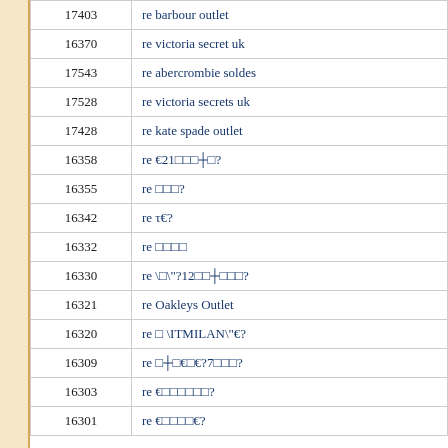| ID | Description |
| --- | --- |
| 17403 | re barbour outlet |
| 16370 | re victoria secret uk |
| 17543 | re abercrombie soldes |
| 17528 | re victoria secrets uk |
| 17428 | re kate spade outlet |
| 16358 | re €21□□□+□? |
| 16355 | re □□□? |
| 16342 | re τ€? |
| 16332 | re □□□□ |
| 16330 | re \□\"?12□□+□□□? |
| 16321 | re Oakleys Outlet |
| 16320 | re □ \ITMILAN\"€? |
| 16309 | re □+□€□€?7□□□? |
| 16303 | re €□□□□□□? |
| 16301 | re €□□□□€? |